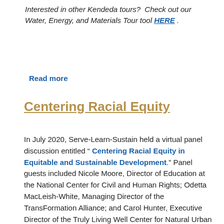Interested in other Kendeda tours?  Check out our Water, Energy, and Materials Tour tool HERE.
Read more
Centering Racial Equity
In July 2020, Serve-Learn-Sustain held a virtual panel discussion entitled “ Centering Racial Equity in Equitable and Sustainable Development.” Panel guests included Nicole Moore, Director of Education at the National Center for Civil and Human Rights; Odetta MacLeish-White, Managing Director of the TransFormation Alliance; and Carol Hunter, Executive Director of the Truly Living Well Center for Natural Urban